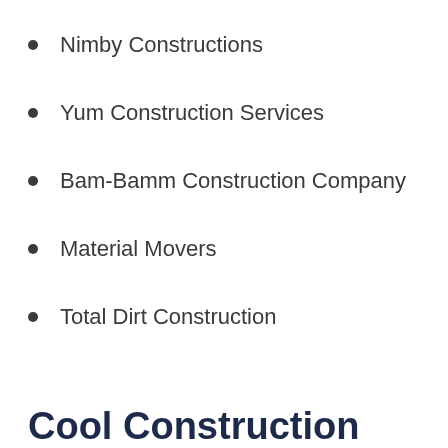Nimby Constructions
Yum Construction Services
Bam-Bamm Construction Company
Material Movers
Total Dirt Construction
Cool Construction